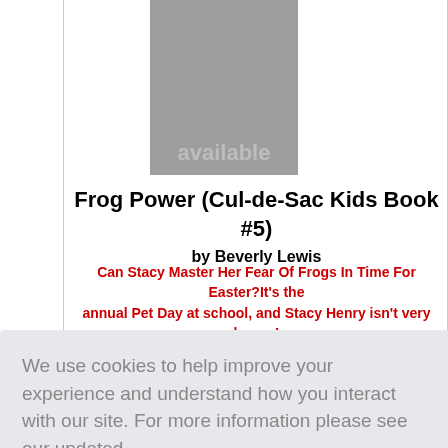[Figure (photo): Gray image placeholder showing 'available' text - book cover image not available]
Frog Power (Cul-de-Sac Kids Book #5) by Beverly Lewis
Can Stacy Master Her Fear Of Frogs In Time For Easter?It's the annual Pet Day at school, and Stacy Henry isn't very happy!
s acy he
We use cookies to help improve your experience and understand how you interact with our site. For more information please see our updated Privacy Policy and Cookie Policy
Don't show this again
[Figure (photo): Partial bottom book cover showing green and other colors with partial text visible]